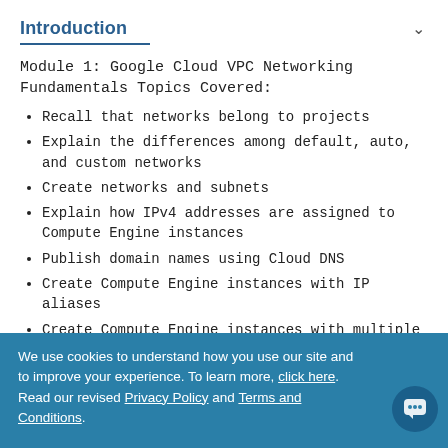Introduction
Module 1: Google Cloud VPC Networking Fundamentals Topics Covered:
Recall that networks belong to projects
Explain the differences among default, auto, and custom networks
Create networks and subnets
Explain how IPv4 addresses are assigned to Compute Engine instances
Publish domain names using Cloud DNS
Create Compute Engine instances with IP aliases
Create Compute Engine instances with multiple virtual network interfaces
We use cookies to understand how you use our site and to improve your experience. To learn more, click here. Read our revised Privacy Policy and Terms and Conditions.